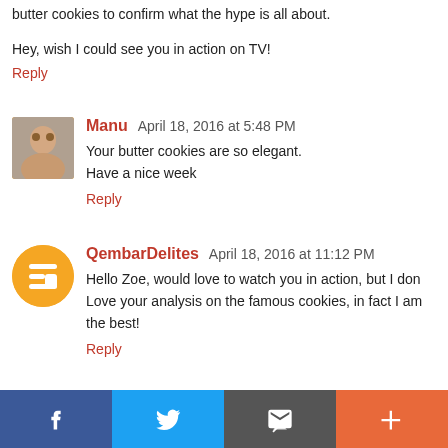butter cookies to confirm what the hype is all about.
Hey, wish I could see you in action on TV!
Reply
Manu  April 18, 2016 at 5:48 PM
Your butter cookies are so elegant.
Have a nice week
Reply
QembarDelites  April 18, 2016 at 11:12 PM
Hello Zoe, would love to watch you in action, but I don... Love your analysis on the famous cookies, in fact I am... the best!
Reply
[Figure (infographic): Social sharing bar with Facebook, Twitter, Email, and Plus buttons]